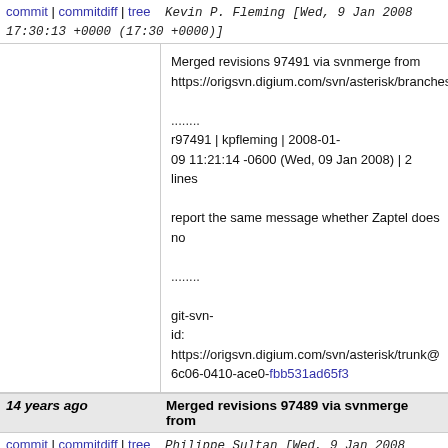commit | commitdiff | tree   Kevin P. Fleming [Wed, 9 Jan 2008 17:30:13 +0000 (17:30 +0000)]
Merged revisions 97491 via svnmerge from https://origsvn.digium.com/svn/asterisk/branches/1

........
r97491 | kpfleming | 2008-01-09 11:21:14 -0600 (Wed, 09 Jan 2008) | 2 lines

report the same message whether Zaptel does no

........

git-svn-id: https://origsvn.digium.com/svn/asterisk/trunk@6c06-0410-ace0-fbb531ad65f3
14 years ago   Merged revisions 97489 via svnmerge from
commit | commitdiff | tree   Philippe Sultan [Wed, 9 Jan 2008 16:59:09 +0000 (16:59 +0000)]
Merged revisions 97489 via svnmerge from https://origsvn.digium.com/svn/asterisk/branches/1

........
r97489 | phsultan | 2008-01-09 17:44:24 +0100 (Wed, 09 Jan 2008) | 7 lines